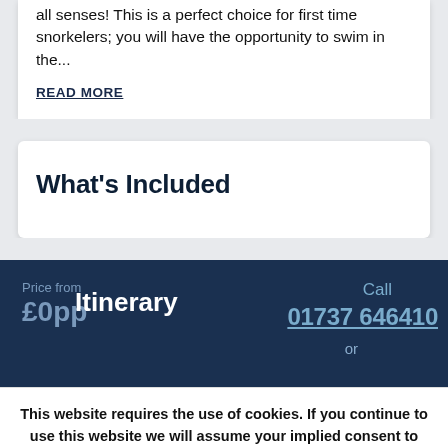all senses! This is a perfect choice for first time snorkelers; you will have the opportunity to swim in the...
READ MORE
What's Included
Price from
£0pp
Itinerary
Call
01737 646410
or
This website requires the use of cookies. If you continue to use this website we will assume your implied consent to use these cookies. This message will only be displayed once.